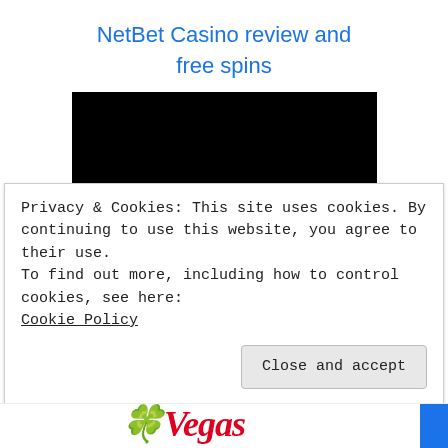NetBet Casino review and free spins
[Figure (logo): BitStarz Casino logo: black background with pink/magenta star and white text 'St' (partially cropped)]
4.7 (29)
BitStarz Casino freespins and review
Privacy & Cookies: This site uses cookies. By continuing to use this website, you agree to their use.
To find out more, including how to control cookies, see here: Cookie Policy
Close and accept
[Figure (logo): Partially visible red cursive logo at the bottom of the page]